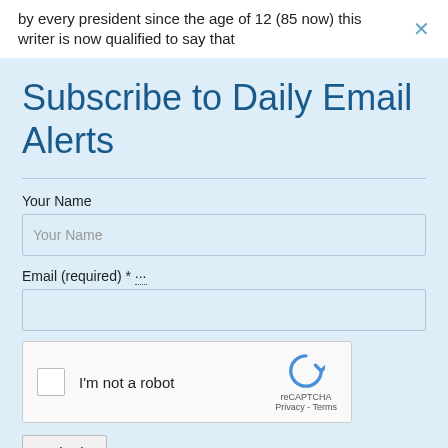by every president since the age of 12 (85 now) this writer is now qualified to say that
Subscribe to Daily Email Alerts
Your Name
Email (required) *
[Figure (other): reCAPTCHA widget with checkbox labeled 'I'm not a robot', reCAPTCHA logo, Privacy - Terms links]
Submit
By submitting this form, you are consenting to receive marketing emails from: News With Views, P.O. Box 990, Spring Branch, TX, 78070-9998,